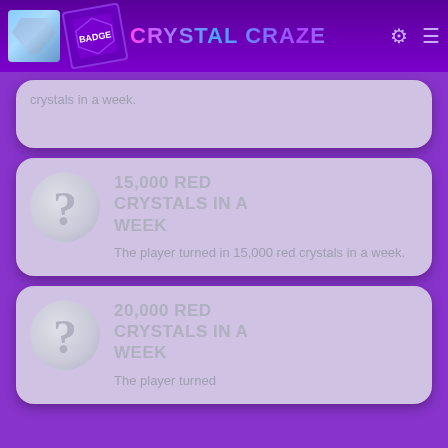Crystal Craze
crystals in a week.
[Figure (screenshot): Achievement card: 15,000 RED CRYSTALS IN A WEEK. The player turned in 15,000 red crystals in a week. Shows a question mark icon placeholder.]
[Figure (screenshot): Achievement card: 20,000 RED CRYSTALS IN A WEEK. The player turned in 20,000 red crystals. Shows a question mark icon placeholder.]